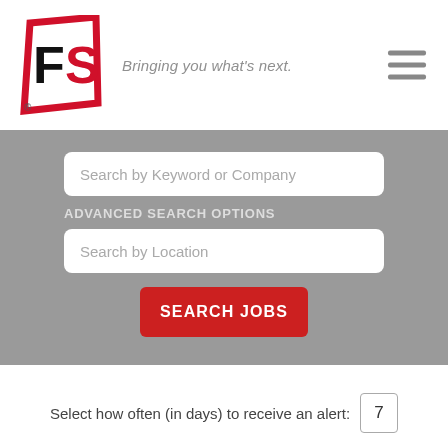[Figure (logo): FS logo — a red parallelogram/chevron shape with bold black F and red S letters, with a registered trademark symbol]
Bringing you what's next.
[Figure (other): Hamburger menu icon — three horizontal grey bars]
Search by Keyword or Company
ADVANCED SEARCH OPTIONS
Search by Location
SEARCH JOBS
Select how often (in days) to receive an alert:  7
✉ Create Alert